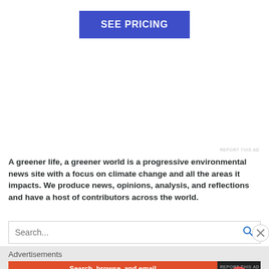[Figure (other): Blue 'SEE PRICING' button]
REPORT THIS AD
A greener life, a greener world is a progressive environmental news site with a focus on climate change and all the areas it impacts. We produce news, opinions, analysis, and reflections and have a host of contributors across the world.
[Figure (other): Search bar with search icon and close button]
Advertisements
[Figure (other): DuckDuckGo advertisement banner: 'Search, browse, and email with more privacy. All in One Free App']